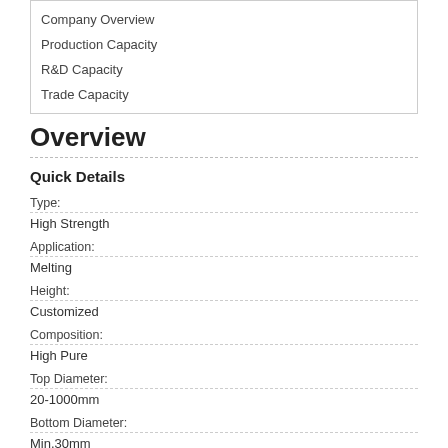Company Overview
Production Capacity
R&D Capacity
Trade Capacity
Overview
Quick Details
Type:
High Strength
Application:
Melting
Height:
Customized
Composition:
High Pure
Top Diameter:
20-1000mm
Bottom Diameter:
Min.30mm